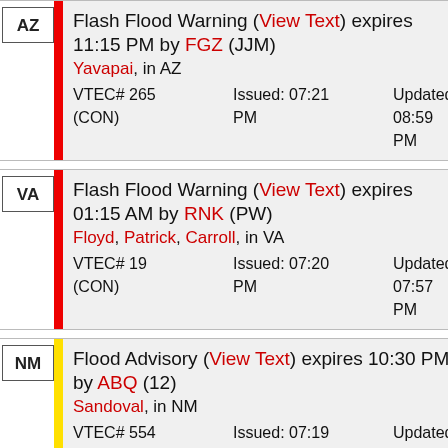AZ — Flash Flood Warning (View Text) expires 11:15 PM by FGZ (JJM). Yavapai, in AZ. VTEC# 265 (CON). Issued: 07:21 PM. Updated: 08:59 PM.
VA — Flash Flood Warning (View Text) expires 01:15 AM by RNK (PW). Floyd, Patrick, Carroll, in VA. VTEC# 19 (CON). Issued: 07:20 PM. Updated: 07:57 PM.
NM — Flood Advisory (View Text) expires 10:30 PM by ABQ (12). Sandoval, in NM. VTEC# 554 (NEW). Issued: 07:19 PM. Updated: 07:19 PM.